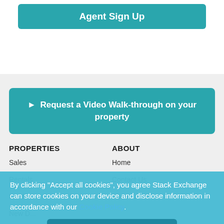Agent Sign Up
Request a Video Walk-through on your property
PROPERTIES
ABOUT
Sales
Home
Rentals
Contact Us
Lands
About Us
New D...
By clicking "Accept all cookies", you agree Stack Exchange can store cookies on your device and disclose information in accordance with our Cookie Policy.
Accept Cookies
NEWS ROOM